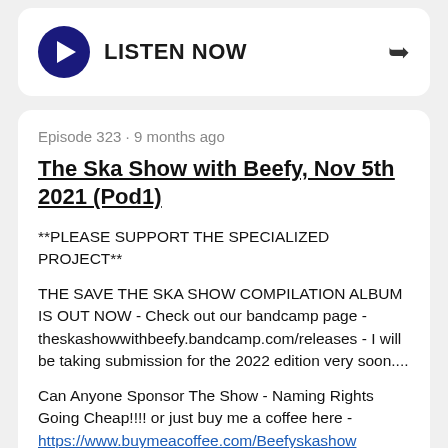[Figure (other): Play button card with LISTEN NOW label and share arrow icon at top of page]
Episode 323 · 9 months ago
The Ska Show with Beefy, Nov 5th 2021 (Pod1)
**PLEASE SUPPORT THE SPECIALIZED PROJECT**
THE SAVE THE SKA SHOW COMPILATION ALBUM IS OUT NOW - Check out our bandcamp page - theskashowwithbeefy.bandcamp.com/releases - I will be taking submission for the 2022 edition very soon....
Can Anyone Sponsor The Show - Naming Rights Going Cheap!!!! or just buy me a coffee here - https://www.buymeacoffee.com/Beefyskashow
Broadcast live from Melbourne to Australia and the
[Figure (other): Play button with LISTEN NOW label and share arrow icon at bottom of page]